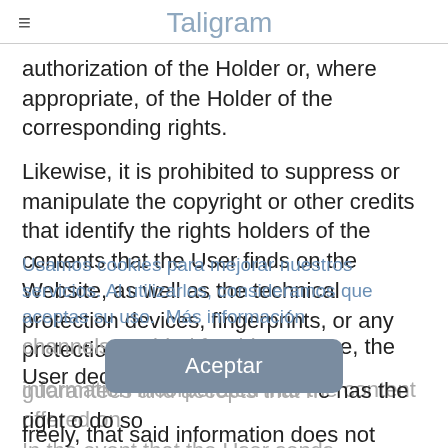Taligram
authorization of the Holder or, where appropriate, of the Holder of the corresponding rights.
Likewise, it is prohibited to suppress or manipulate the copyright or other credits that identify the rights holders of the contents that the User finds on the Website, as well as the technical protection devices, fingerprints, or any protection mechanism or
information incorporated into the content offered on
Usamos cookies para mejorar nuestros servicios. Al utilizarlos, consideramos que aceptas su uso.  Más información
In the event that the User sends information or content of any kind to the Holder through any of the channels enabled for this purpose, the User declares, guarantees and accepts that he has the right to do so freely, that said information does not infringe any